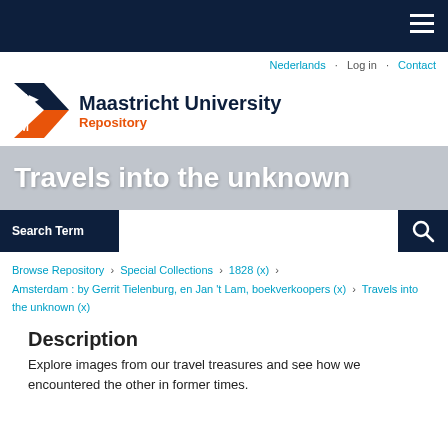Maastricht University Repository
Nederlands · Log in · Contact
[Figure (logo): Maastricht University Repository logo with UM triangular emblem]
Travels into the unknown
Search Term [search field]
Browse Repository › Special Collections › 1828 (x) › Amsterdam : by Gerrit Tielenburg, en Jan 't Lam, boekverkoopers (x) › Travels into the unknown (x)
Description
Explore images from our travel treasures and see how we encountered the other in former times.